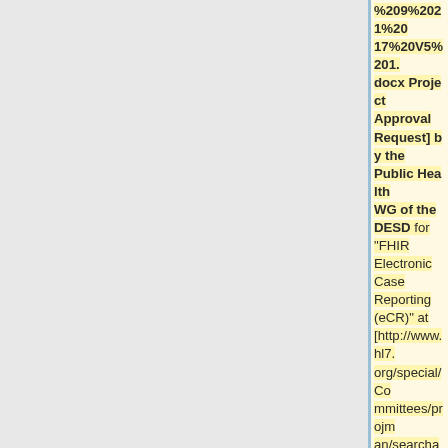%209%2021%2017%20V5%201.docx Project Approval Request] by the Public Health WG of the DESD for "FHIR Electronic Case Reporting (eCR)" at [http://www.hl7.org/special/Committees/projman/searchableProjectIndex.cfm?action=edit&ProjectNumber=1366 Project Insight 1366] and [https://gforge.hl7.org/gf/project